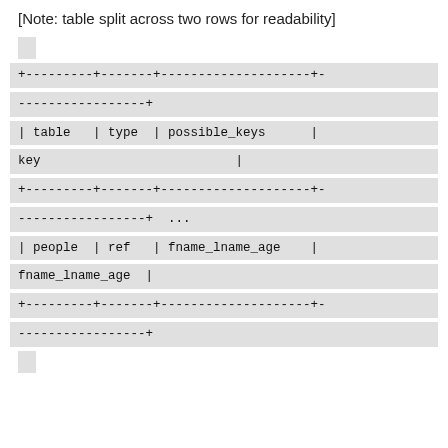[Note: table split across two rows for readability]
+---------+-------+--------------------+-
-----------------+
| table   | type  | possible_keys      |
key                          |
+---------+-------+--------------------+-
-----------------+  ...
| people  | ref   | fname_lname_age    |
fname_lname_age  |
+---------+-------+--------------------+-
-----------------+